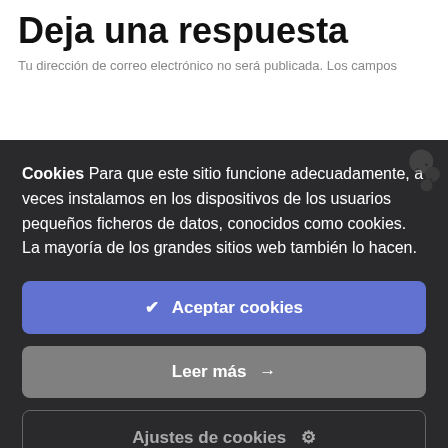Deja una respuesta
Tu dirección de correo electrónico no será publicada. Los campos
Cookies Para que este sitio funcione adecuadamente, a veces instalamos en los dispositivos de los usuarios pequeños ficheros de datos, conocidos como cookies. La mayoría de los grandes sitios web también lo hacen.
✔ Aceptar cookies
Leer más →
Ajustes de cookies ⚙